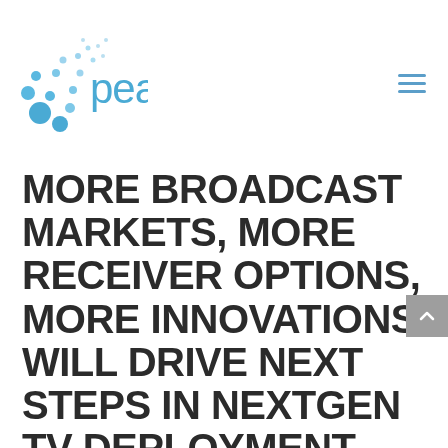[Figure (logo): Pearl logo with blue bubble/dot cluster on left and 'pearl' text in blue on right]
MORE BROADCAST MARKETS, MORE RECEIVER OPTIONS, MORE INNOVATIONS WILL DRIVE NEXT STEPS IN NEXTGEN TV DEPLOYMENT